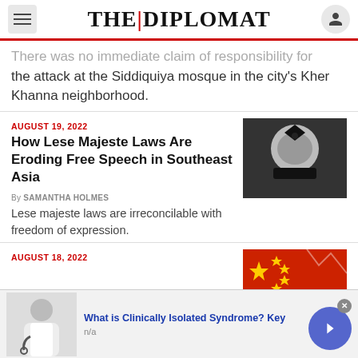THE DIPLOMAT
There was no immediate claim of responsibility for the attack at the Siddiquiya mosque in the city's Kher Khanna neighborhood.
AUGUST 19, 2022
How Lese Majeste Laws Are Eroding Free Speech in Southeast Asia
By SAMANTHA HOLMES
[Figure (photo): Black and white photo of a person with tape over their mouth, symbolizing censorship]
Lese majeste laws are irreconcilable with freedom of expression.
AUGUST 18, 2022
[Figure (photo): Chinese flag image]
What is Clinically Isolated Syndrome? Key
n/a